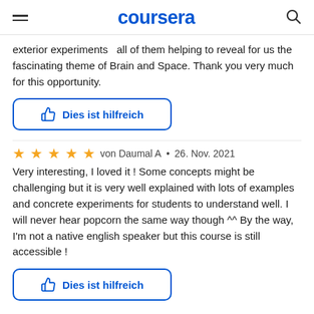coursera
exterior experiments  all of them helping to reveal for us the fascinating theme of Brain and Space. Thank you very much for this opportunity.
[Figure (other): Button labeled 'Dies ist hilfreich' with thumbs up icon, blue border]
von Daumal A • 26. Nov. 2021
Very interesting, I loved it ! Some concepts might be challenging but it is very well explained with lots of examples and concrete experiments for students to understand well. I will never hear popcorn the same way though ^^ By the way, I'm not a native english speaker but this course is still accessible !
[Figure (other): Button labeled 'Dies ist hilfreich' with thumbs up icon, blue border]